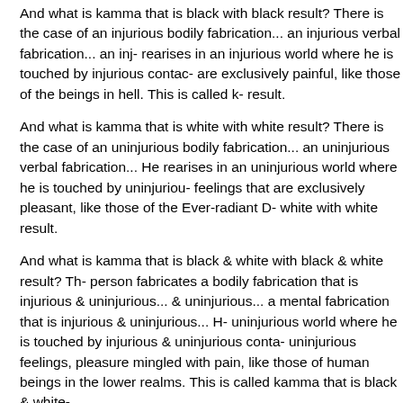And what is kamma that is black with black result? There is the case of an injurious bodily fabrication... an injurious verbal fabrication... an injurious mental fabrication... He rearises in an injurious world where he is touched by injurious contacts. Being touched by injurious contacts, he feels feelings that are exclusively painful, like those of the beings in hell. This is called kamma that is black with black result.
And what is kamma that is white with white result? There is the case of an uninjurious bodily fabrication... an uninjurious verbal fabrication... an uninjurious mental fabrication... He rearises in an uninjurious world where he is touched by uninjurious contacts. Being touched by uninjurious contacts, he feels feelings that are exclusively pleasant, like those of the Ever-radiant Devas. This is called kamma that is white with white result.
And what is kamma that is black & white with black & white result? There is the case where a person fabricates a bodily fabrication that is injurious & uninjurious... a verbal fabrication that is injurious & uninjurious... a mental fabrication that is injurious & uninjurious... He rearises in an injurious & uninjurious world where he is touched by injurious & uninjurious contacts. Being touched by injurious & uninjurious feelings, pleasure mingled with pain, like those of human beings and some beings in the lower realms. This is called kamma that is black & white with black & white result.
And what is kamma that is neither black nor white with neither black nor white result, leading to the ending of kamma? The intention right there to abandon this kamma that is black with black result, the intention right there to abandon this kamma that is white with white result, the intention right there to abandon this kamma that is black & white with black & white result. This is called kamma that is neither black nor white with neither black nor white result, leading to the ending of kamma.